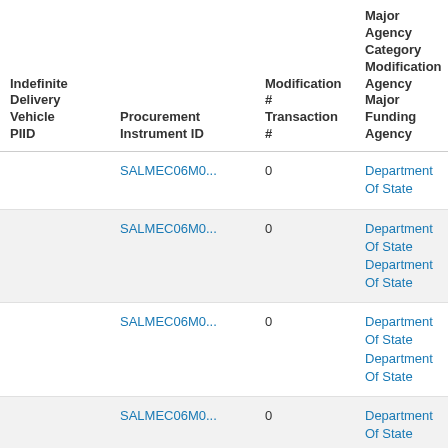| Indefinite Delivery Vehicle PIID | Procurement Instrument ID | Modification # Transaction # | Major Agency Category Modification Agency Major Funding Agency | Product Service Code |
| --- | --- | --- | --- | --- |
|  | SALMEC06M0... | 0 | Department Of State | Miscellaneous Items |
|  | SALMEC06M0... | 0 | Department Of State Department Of State | 9999: Miscellaneous Items |
|  | SALMEC06M0... | 0 | Department Of State Department Of State | 9999: Miscellaneous Items |
|  | SALMEC06M0... | 0 | Department Of State | 9999: Miscellaneous Items |